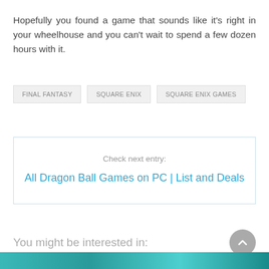Hopefully you found a game that sounds like it’s right in your wheelhouse and you can’t wait to spend a few dozen hours with it.
FINAL FANTASY
SQUARE ENIX
SQUARE ENIX GAMES
Check next entry:
All Dragon Ball Games on PC | List and Deals
You might be interested in:
[Figure (photo): Partial view of a colorful teal/green game-related image at the bottom of the page]